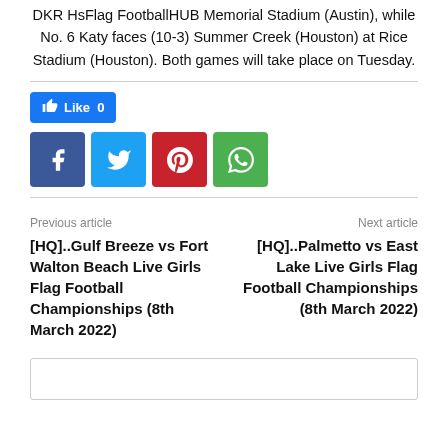DKR HsFlag FootballHUB Memorial Stadium (Austin), while No. 6 Katy faces (10-3) Summer Creek (Houston) at Rice Stadium (Houston). Both games will take place on Tuesday.
[Figure (infographic): Facebook Like button showing 'Like 0' count, followed by social share buttons for Facebook, Twitter, Pinterest, and WhatsApp]
Previous article
[HQ]..Gulf Breeze vs Fort Walton Beach Live Girls Flag Football Championships (8th March 2022)
Next article
[HQ]..Palmetto vs East Lake Live Girls Flag Football Championships (8th March 2022)